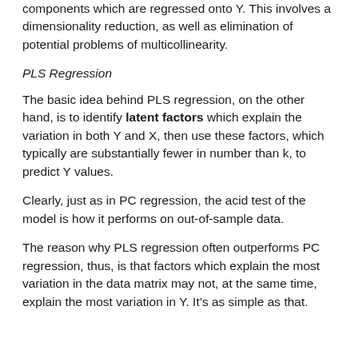components which are regressed onto Y. This involves a dimensionality reduction, as well as elimination of potential problems of multicollinearity.
PLS Regression
The basic idea behind PLS regression, on the other hand, is to identify latent factors which explain the variation in both Y and X, then use these factors, which typically are substantially fewer in number than k, to predict Y values.
Clearly, just as in PC regression, the acid test of the model is how it performs on out-of-sample data.
The reason why PLS regression often outperforms PC regression, thus, is that factors which explain the most variation in the data matrix may not, at the same time, explain the most variation in Y. It’s as simple as that.